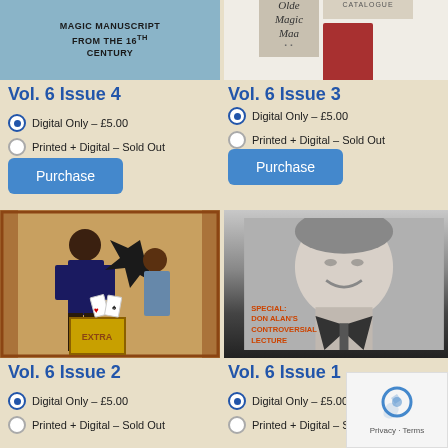[Figure (illustration): Book cover with blue background: MAGIC MANUSCRIPT FROM THE 16TH CENTURY]
[Figure (illustration): Olde Magic Maa book and catalogue on light background with red box]
Vol. 6 Issue 4
Vol. 6 Issue 3
Digital Only – £5.00
Printed + Digital – Sold Out
Digital Only – £5.00
Printed + Digital – Sold Out
Purchase
Purchase
[Figure (illustration): Vintage magic/conjuring illustration with performer and playing cards]
[Figure (photo): Black and white portrait photo of smiling man with text: SPECIAL: DON ALAN'S CONTROVERSIAL LECTURE]
Vol. 6 Issue 2
Vol. 6 Issue 1
Digital Only – £5.00
Printed + Digital – Sold Out
Digital Only – £5.00
Printed + Digital – Sold Out